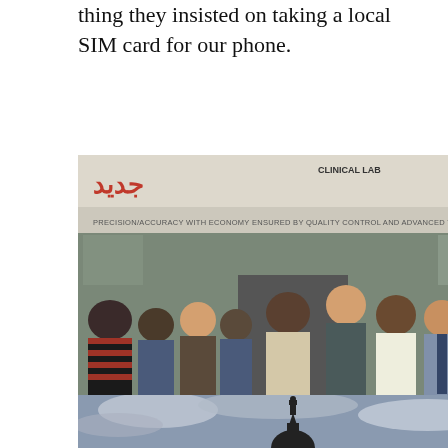thing they insisted on taking a local SIM card for our phone.
[Figure (photo): Group photo of approximately 10 men standing in front of a building with a banner reading 'CLINICAL LAB' and 'PRECISION/ACCURACY WITH ECONOMY ENSURED BY QUALITY CONTROL AND ADVANCED TECHNOLOGY'. The group includes both Western-looking visitors and local Pakistani men, some wearing traditional shalwar kameez.]
Pakistan would have been such a different experience without these amazing friends from Lahore
[Figure (photo): A silhouette of a mosque dome or minaret against a dramatic cloudy sky.]